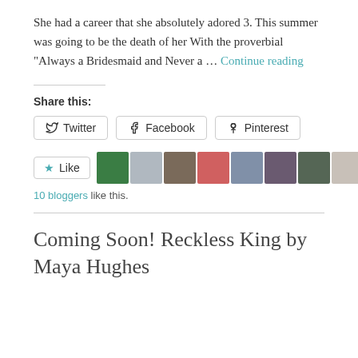She had a career that she absolutely adored 3. This summer was going to be the death of her With the proverbial "Always a Bridesmaid and Never a … Continue reading
Share this:
Twitter  Facebook  Pinterest
Like  10 bloggers like this.
Coming Soon! Reckless King by Maya Hughes